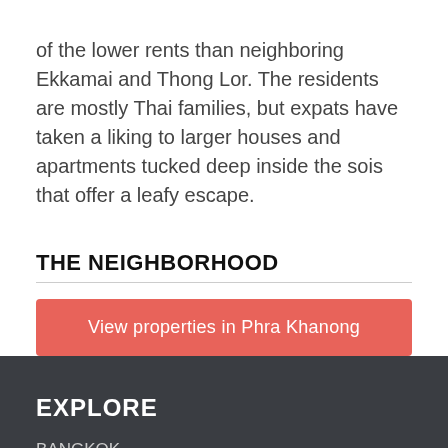of the lower rents than neighboring Ekkamai and Thong Lor. The residents are mostly Thai families, but expats have taken a liking to larger houses and apartments tucked deep inside the sois that offer a leafy escape.
THE NEIGHBORHOOD
View properties in Phra Khanong
EXPLORE
BANGKOK